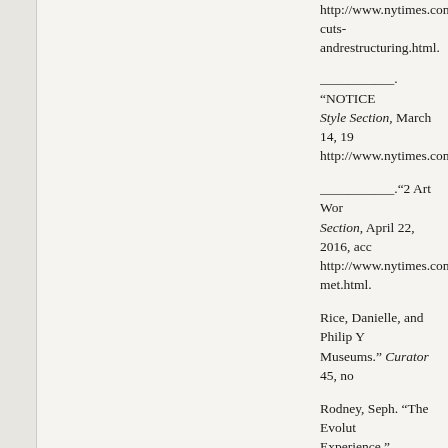http://www.nytimes.com/20... cuts-andrestructuring.html.
___________. “NOTICE... Style Section, March 14, 19... http://www.nytimes.com/19...
___________."2 Art Wor... Section, April 22, 2016, acc... http://www.nytimes.com/20... met.html.
Rice, Danielle, and Philip Y... Museums.” Curator 45, no
Rodney, Seph. “The Evolut... Experience.” Hyperallergi... January 25, 2016, http://hyp... from-privilege-to-personali...
Schulte, Erin. “Most Creati... Sreenivasan.” Fast Compar... http://live.fastcompany.com...